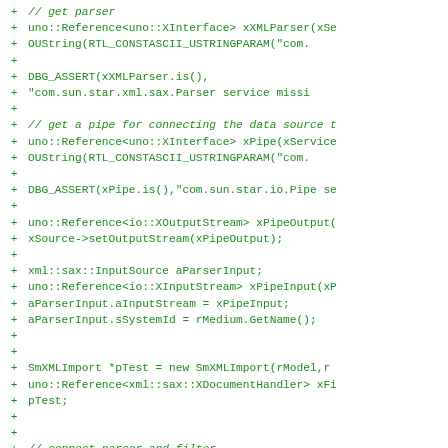[Figure (screenshot): A code diff showing added lines (marked with '+') of C++ source code using UNO API for XML parsing. The code includes getting a parser, assertions, pipe setup, input/output stream configuration, and parser-filter connection. All lines are shown in green monospace font on white background.]